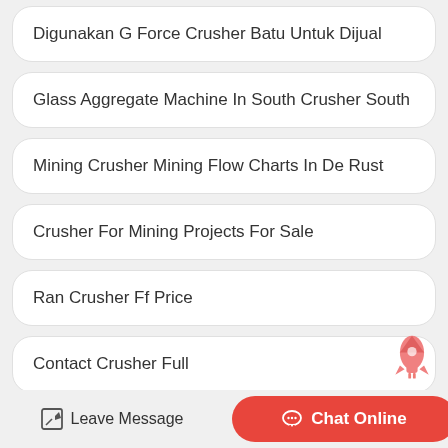Digunakan G Force Crusher Batu Untuk Dijual
Glass Aggregate Machine In South Crusher South
Mining Crusher Mining Flow Charts In De Rust
Crusher For Mining Projects For Sale
Ran Crusher Ff Price
Contact Crusher Full
Coal Crusher Conveyed Crossword
Leave Message   Chat Online